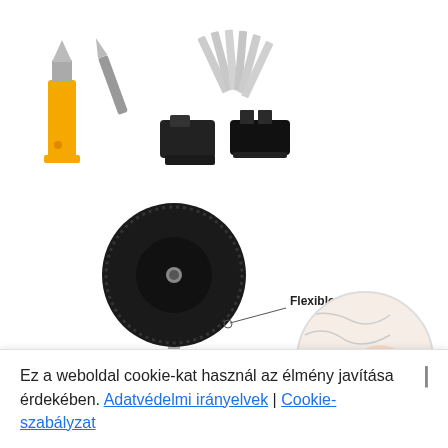[Figure (photo): Product photo showing various cutting/scraping tools: a yellow-handled scraper, gray blades, black connector pieces, and replacement razor blades arranged on white background]
[Figure (photo): Product photo of a black round polishing/buffing sponge pad on a metal arm/stand, with a callout label 'Flexible sponge' pointing to the sponge material, and a zoomed circular inset showing the sponge texture close-up with a pinkish tint]
Ez a weboldal cookie-kat használ az élmény javítása érdekében. Adatvédelmi irányelvek | Cookie-szabályzat